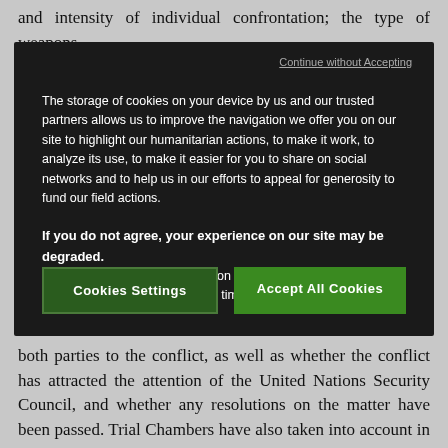and intensity of individual confrontation; the type of weapons
[Figure (screenshot): Cookie consent overlay dialog on a dark background with 'Continue without Accepting' link, cookie policy text, bold warning text, and two buttons: 'Cookies Settings' and 'Accept All Cookies']
both parties to the conflict, as well as whether the conflict has attracted the attention of the United Nations Security Council, and whether any resolutions on the matter have been passed. Trial Chambers have also taken into account in this respect the